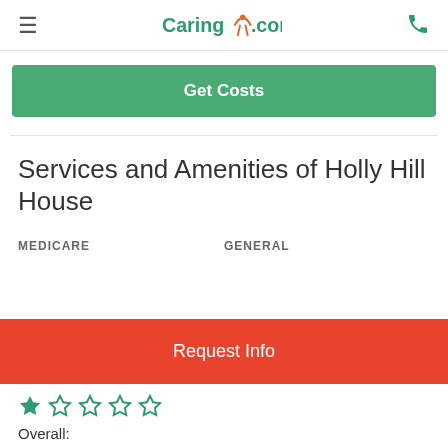Caring.com
Get Costs
Services and Amenities of Holly Hill House
MEDICARE
GENERAL
Request Info
Overall: